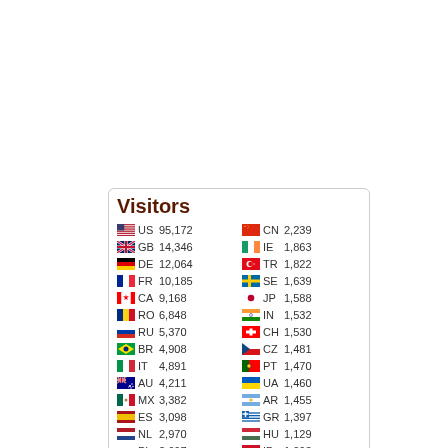Visitors
| Flag | Country | Visitors | Flag | Country | Visitors |
| --- | --- | --- | --- | --- | --- |
| [US] | US | 95,172 | [CN] | CN | 2,239 |
| [GB] | GB | 14,346 | [IE] | IE | 1,863 |
| [DE] | DE | 12,064 | [TR] | TR | 1,822 |
| [FR] | FR | 10,185 | [SE] | SE | 1,639 |
| [CA] | CA | 9,168 | [JP] | JP | 1,588 |
| [RO] | RO | 6,848 | [IN] | IN | 1,532 |
| [RU] | RU | 5,370 | [CH] | CH | 1,530 |
| [BR] | BR | 4,908 | [CZ] | CZ | 1,481 |
| [IT] | IT | 4,891 | [PT] | PT | 1,470 |
| [AU] | AU | 4,211 | [UA] | UA | 1,460 |
| [MX] | MX | 3,382 | [AR] | AR | 1,455 |
| [ES] | ES | 3,098 | [GR] | GR | 1,397 |
| [NL] | NL | 2,970 | [HU] | HU | 1,129 |
| [PL] | PL | 2,697 | [ID] | ID | 1,093 |
| [BE] | BE | 2,581 | [FI] | FI | 1,074 |
[Figure (logo): FLAG counter logo with running figure icon]